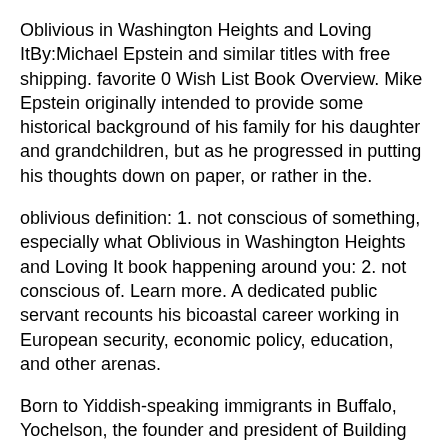Oblivious in Washington Heights and Loving ItBy:Michael Epstein and similar titles with free shipping. favorite 0 Wish List Book Overview. Mike Epstein originally intended to provide some historical background of his family for his daughter and grandchildren, but as he progressed in putting his thoughts down on paper, or rather in the.
oblivious definition: 1. not conscious of something, especially what Oblivious in Washington Heights and Loving It book happening around you: 2. not conscious of. Learn more. A dedicated public servant recounts his bicoastal career working in European security, economic policy, education, and other arenas.
Born to Yiddish-speaking immigrants in Buffalo, Yochelson, the founder and president of Building Engineering and Science Talent, was 17 when he heard John F. Kennedy's inaugural exhortation to “ask what you can do for your country.". Love Hurts; it's messy and a mathematical nightmare where only a few can come out happy, never mind unscathed.